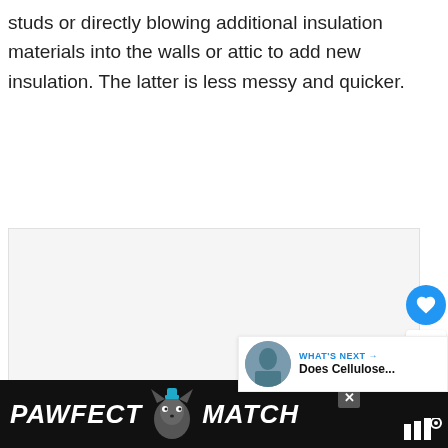studs or directly blowing additional insulation materials into the walls or attic to add new insulation. The latter is less messy and quicker.
[Figure (screenshot): A mostly blank image placeholder area with three light gray dots in the center, overlaid with a blue heart/like button showing count of 1, a share button, a 'What's Next' panel showing 'Does Cellulose...' with a thumbnail, and a corner triangle decoration.]
[Figure (screenshot): Ad banner at the bottom showing 'PAWFECT MATCH' with a cat silhouette in between on a black background, with a close X button and a logo on the right.]